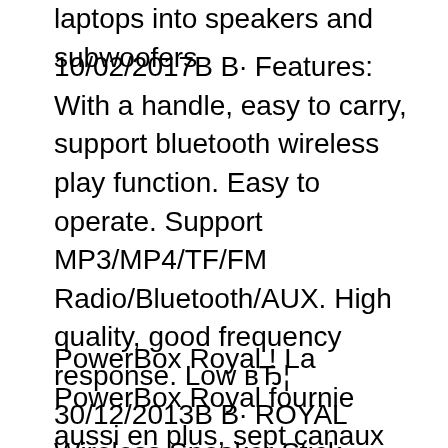laptops into speakers and subwoofers
10/02/2017В В· Features: With a handle, easy to carry, support bluetooth wireless play function. Easy to operate. Support MP3/MP4/TF/FM Radio/Bluetooth/AUX. High quality, good frequency response. Low вЂ¦ 30/12/2013В В· ROYAL Wireless Speaker Stick Bluetooth splashproof speaker with suction cub base rechargeable. charges in about 2 hrs. about 8 hrs play time. NOTE: instructions say that when the speaker вЂ¦
PowerBox Royal ! La PowerBox Royal fournie aussi en plus, sept canaux qui peuvent ГЄtre В« accГ©dГ© Г  distance В» Г  partir du rГ©cepteur. Nous avons inventГ© ce terme car